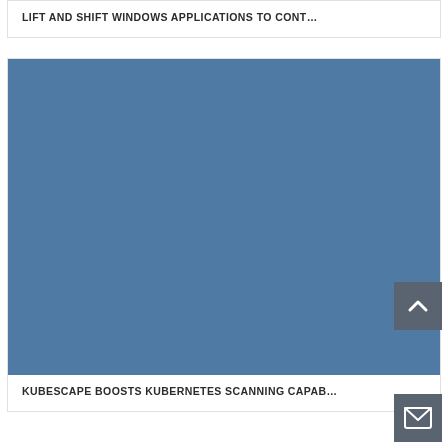LIFT AND SHIFT WINDOWS APPLICATIONS TO CONT…
[Figure (photo): Solid steel blue colored rectangle placeholder image]
KUBESCAPE BOOSTS KUBERNETES SCANNING CAPAB…